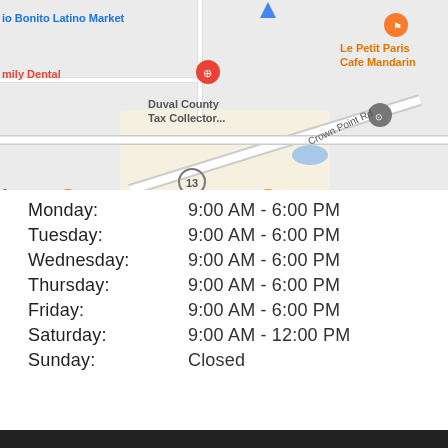[Figure (map): Google Maps screenshot showing Crown Point Rd area in Jacksonville, FL. Visible labels include Rio Bonito Latino Market, Le Petit Paris Cafe Mandarin, Family Dental, Duval County Tax Collector, Moorings Dr, Bear V[reek], Crown Point Rd, Arrowhead, and route marker 13. Orange and blue map pins visible.]
Monday: 9:00 AM - 6:00 PM
Tuesday: 9:00 AM - 6:00 PM
Wednesday: 9:00 AM - 6:00 PM
Thursday: 9:00 AM - 6:00 PM
Friday: 9:00 AM - 6:00 PM
Saturday: 9:00 AM - 12:00 PM
Sunday: Closed